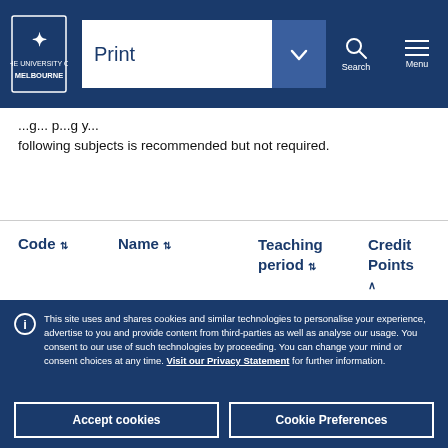University of Melbourne — Print | Search | Menu navigation bar
following subjects is recommended but not required.
| Code | Name | Teaching period | Credit Points |
| --- | --- | --- | --- |
This site uses and shares cookies and similar technologies to personalise your experience, advertise to you and provide content from third-parties as well as analyse our usage. You consent to our use of such technologies by proceeding. You can change your mind or consent choices at any time. Visit our Privacy Statement for further information.
Accept cookies | Cookie Preferences